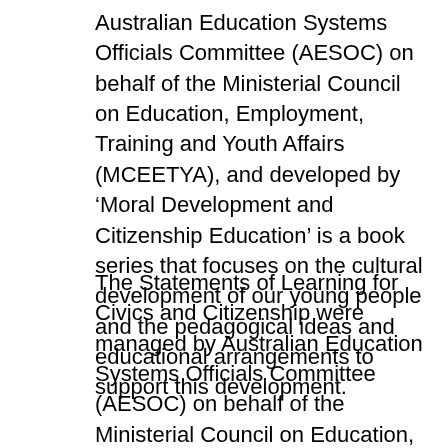Australian Education Systems Officials Committee (AESOC) on behalf of the Ministerial Council on Education, Employment, Training and Youth Affairs (MCEETYA), and developed by ‘Moral Development and Citizenship Education’ is a book series that focuses on the cultural development of our young people and the pedagogical ideas and educational arrangements to support this development.
The Statements of Learning for Civics and Citizenship were managed by Australian Education Systems Officials Committee (AESOC) on behalf of the Ministerial Council on Education, Employment, Training and Youth Affairs